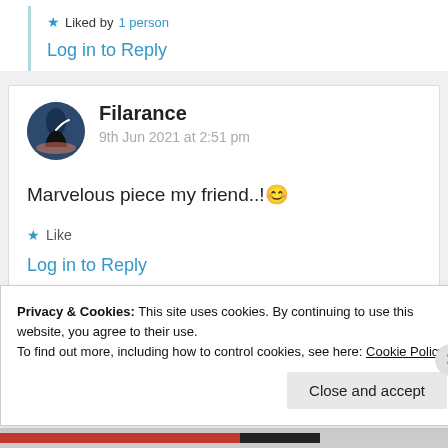★ Liked by 1 person
Log in to Reply
Filarance
9th Jun 2021 at 2:51 pm
Marvelous piece my friend..!😊
★ Like
Log in to Reply
Privacy & Cookies: This site uses cookies. By continuing to use this website, you agree to their use. To find out more, including how to control cookies, see here: Cookie Policy
Close and accept